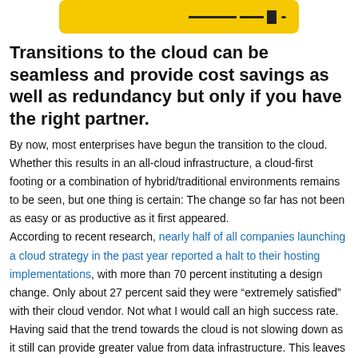[Figure (illustration): Yellow rounded rectangle banner with a horizontal arrow/line graphic on the right side, resembling a logo or header image.]
Transitions to the cloud can be seamless and provide cost savings as well as redundancy but only if you have the right partner.
By now, most enterprises have begun the transition to the cloud. Whether this results in an all-cloud infrastructure, a cloud-first footing or a combination of hybrid/traditional environments remains to be seen, but one thing is certain: The change so far has not been as easy or as productive as it first appeared.
According to recent research, nearly half of all companies launching a cloud strategy in the past year reported a halt to their hosting implementations, with more than 70 percent instituting a design change. Only about 27 percent said they were “extremely satisfied” with their cloud vendor. Not what I would call an high success rate.
Having said that the trend towards the cloud is not slowing down as it still can provide greater value from data infrastructure. This leaves most organizations in a bind because on the one hand the cloud promises all manner of